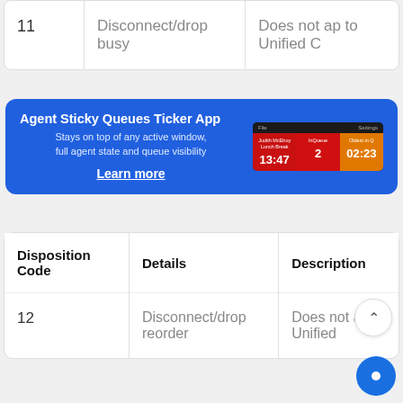|  | Details | Description |
| --- | --- | --- |
| 11 | Disconnect/drop busy | Does not ap to Unified C |
[Figure (screenshot): Agent Sticky Queues Ticker App advertisement banner with blue background showing app name, description 'Stays on top of any active window, full agent state and queue visibility', a Learn more link, and a screenshot of the app showing agent state panel with times 13:47, inQueue value 2, and 02:23]
| Disposition Code | Details | Description |
| --- | --- | --- |
| 12 | Disconnect/drop reorder | Does not ap Unified |